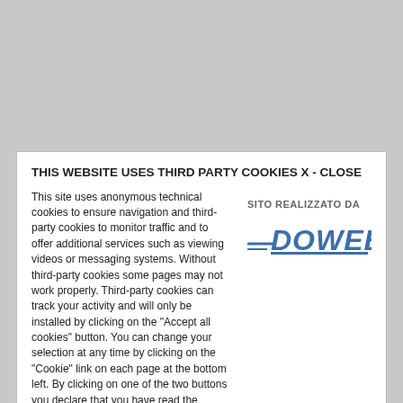THIS WEBSITE USES THIRD PARTY COOKIES X - CLOSE
This site uses anonymous technical cookies to ensure navigation and third-party cookies to monitor traffic and to offer additional services such as viewing videos or messaging systems. Without third-party cookies some pages may not work properly. Third-party cookies can track your activity and will only be installed by clicking on the "Accept all cookies" button. You can change your selection at any time by clicking on the "Cookie" link on each page at the bottom left. By clicking on one of the two buttons you declare that you have read the privacy policy and to accept the conditions.
[Figure (logo): SITO REALIZZATO DA DOWEB logo with blue and grey text and speed lines]
More information
ACCEPT ALL COOKIES
ONLY TECHNICAL COOKIES